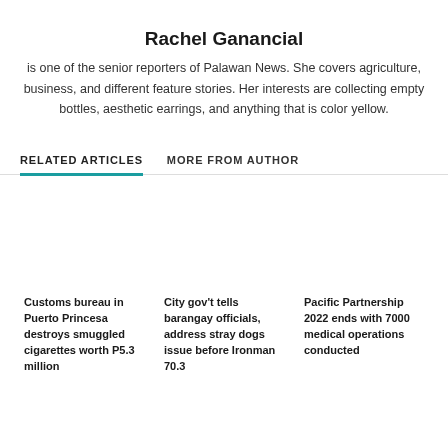Rachel Ganancial
is one of the senior reporters of Palawan News. She covers agriculture, business, and different feature stories. Her interests are collecting empty bottles, aesthetic earrings, and anything that is color yellow.
RELATED ARTICLES
MORE FROM AUTHOR
Customs bureau in Puerto Princesa destroys smuggled cigarettes worth P5.3 million
City gov't tells barangay officials, address stray dogs issue before Ironman 70.3
Pacific Partnership 2022 ends with 7000 medical operations conducted